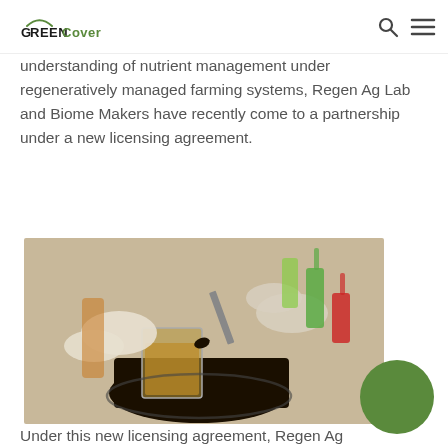GreenCover
understanding of nutrient management under regeneratively managed farming systems, Regen Ag Lab and Biome Makers have recently come to a partnership under a new licensing agreement.
[Figure (photo): Gloved hands using tweezers to place dark soil into a glass container with amber liquid, with colorful laboratory vials in the background]
Under this new licensing agreement, Regen Ag